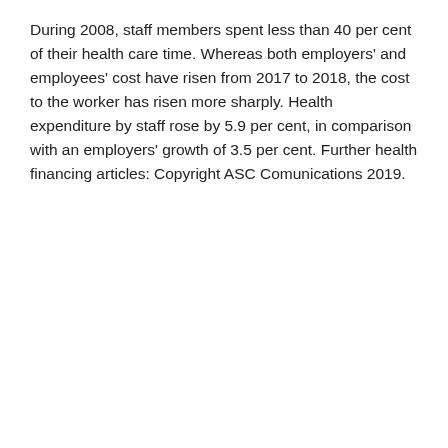During 2008, staff members spent less than 40 per cent of their health care time. Whereas both employers' and employees' cost have risen from 2017 to 2018, the cost to the worker has risen more sharply. Health expenditure by staff rose by 5.9 per cent, in comparison with an employers' growth of 3.5 per cent. Further health financing articles: Copyright ASC Comunications 2019.